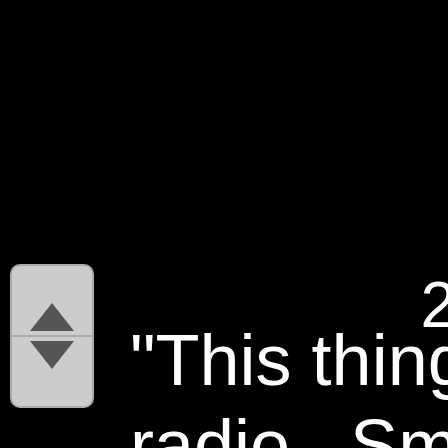2
"This thing's beg radio. Smart and hearty, its full of v
[Figure (screenshot): A scroll widget with up and down triangle arrows on a gray rounded-rectangle background, positioned in the lower-left corner of the screen.]